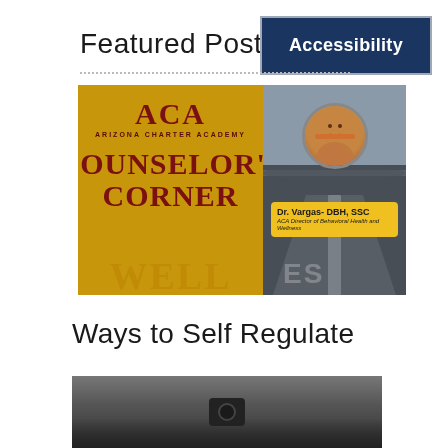Featured Posts
[Figure (illustration): ACA Arizona Charter Academy Counselor's Corner promotional image split into two halves: left side shows gold/yellow background with 'ACA Arizona Charter Academy' logo and 'COUNSELOR'S CORNER' text in dark red; right side shows a road scene with a circular portrait of Dr. Vargas-DBH, SSC labeled as ACA Director of Behavioral Health and Wellness in a yellow badge]
Ways to Self Regulate
[Figure (screenshot): Bottom portion of a video thumbnail showing a dark gray/black silhouette of a person or object against a gray background, possibly a webcam or video conference image]